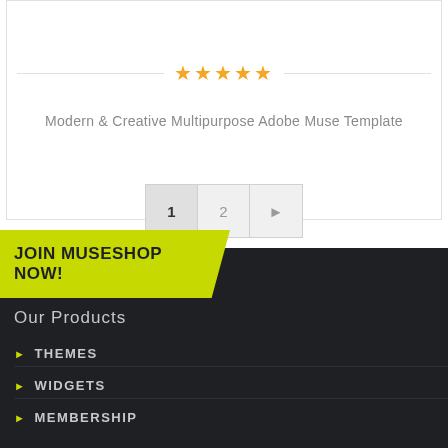★★★★★
Modern & Creative Multipurpose Adobe Muse Template
1  2  ▶
JOIN MUSESHOP NOW!
Our Products
▶ THEMES
▶ WIDGETS
▶ MEMBERSHIP